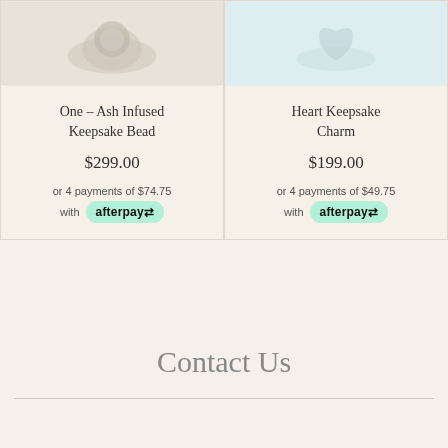[Figure (photo): Photo of ash infused keepsake bead jewelry, top portion visible]
[Figure (photo): Photo of heart keepsake charm jewelry on light blue background, top portion visible]
One – Ash Infused Keepsake Bead
$299.00
or 4 payments of $74.75 with afterpay
Heart Keepsake Charm
$199.00
or 4 payments of $49.75 with afterpay
Contact Us